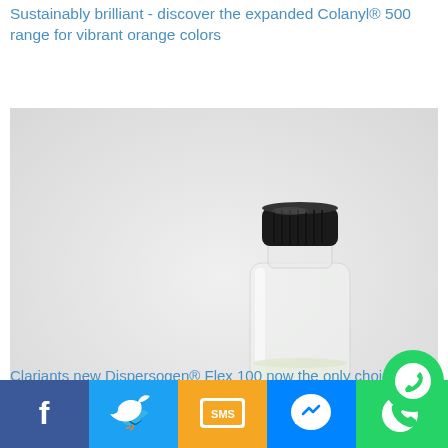Sustainably brilliant - discover the expanded Colanyl® 500 range for vibrant orange colors
[Figure (photo): A small clear glass vial/bottle with a black screw cap, containing a milky white liquid, photographed on a white/light grey background.]
Clariants new Dispersogen® Flex 100 now the only choice for superior and sustainable pigment preparation
[Figure (infographic): Social media share bar at the bottom with Facebook (blue), Twitter (light blue), SMS (yellow/orange), Messenger (blue), WhatsApp (green) icons. A WhatsApp floating circle icon appears in the bottom-right corner.]